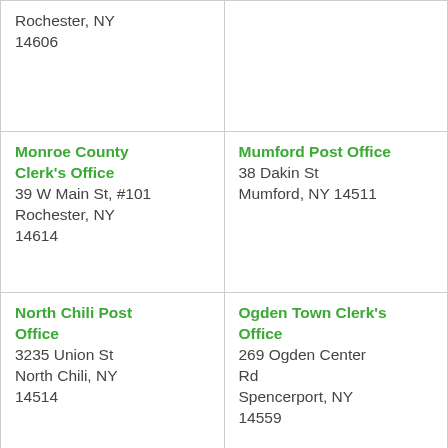| Rochester, NY
14606 |  |
| Monroe County Clerk's Office
39 W Main St, #101
Rochester, NY
14614 | Mumford Post Office
38 Dakin St
Mumford, NY 14511 |
| North Chili Post Office
3235 Union St
North Chili, NY
14514 | Ogden Town Clerk's Office
269 Ogden Center Rd
Spencerport, NY
14559 |
| Panorama Branch Usps |  |